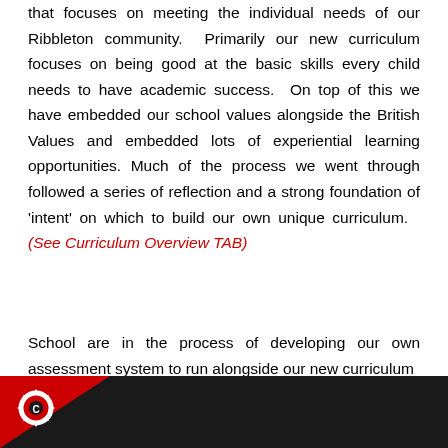that focuses on meeting the individual needs of our Ribbleton community. Primarily our new curriculum focuses on being good at the basic skills every child needs to have academic success. On top of this we have embedded our school values alongside the British Values and embedded lots of experiential learning opportunities. Much of the process we went through followed a series of reflection and a strong foundation of 'intent' on which to build our own unique curriculum. (See Curriculum Overview TAB)
School are in the process of developing our own assessment system to run alongside our new curriculum